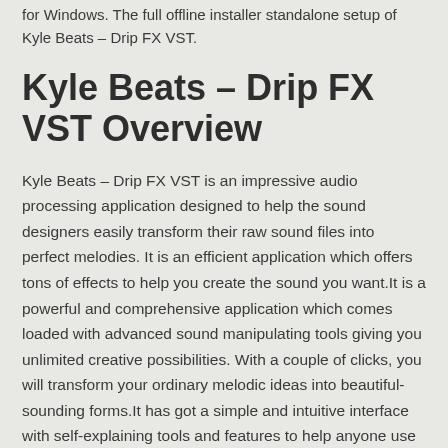for Windows. The full offline installer standalone setup of Kyle Beats – Drip FX VST.
Kyle Beats – Drip FX VST Overview
Kyle Beats – Drip FX VST is an impressive audio processing application designed to help the sound designers easily transform their raw sound files into perfect melodies. It is an efficient application which offers tons of effects to help you create the sound you want.It is a powerful and comprehensive application which comes loaded with advanced sound manipulating tools giving you unlimited creative possibilities. With a couple of clicks, you will transform your ordinary melodic ideas into beautiful-sounding forms.It has got a simple and intuitive interface with self-explaining tools and features to help anyone use its full capabilities without any issues. You can also download Artistry Audio – Scorpio Free